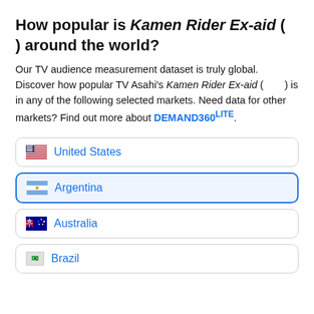How popular is Kamen Rider Ex-aid (仮面ライダーエグゼイド) around the world?
Our TV audience measurement dataset is truly global. Discover how popular TV Asahi's Kamen Rider Ex-aid (仮面ライダーエグゼイド) is in any of the following selected markets. Need data for other markets? Find out more about DEMAND360LITE.
United States
Argentina
Australia
Brazil